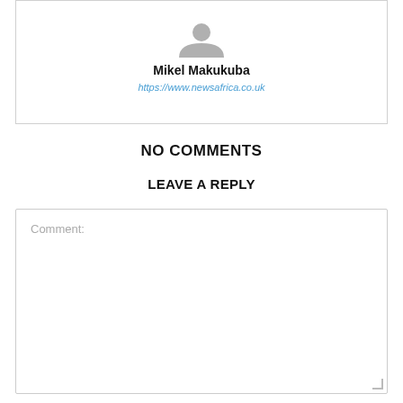[Figure (illustration): Author avatar placeholder silhouette (grey person icon)]
Mikel Makukuba
https://www.newsafrica.co.uk
NO COMMENTS
LEAVE A REPLY
Comment: